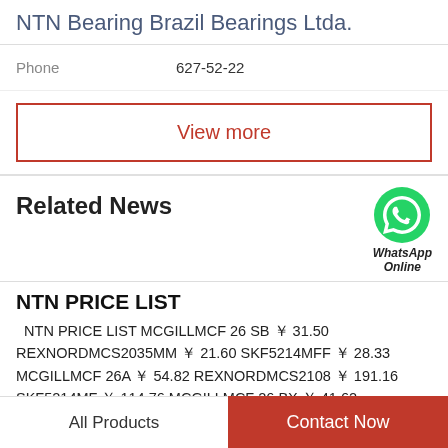NTN Bearing Brazil Bearings Ltda.
Phone   627-52-22
View more
Related News
NTN PRICE LIST
NTN PRICE LIST MCGILLMCF 26 SB ￥ 31.50 REXNORDMCS2035MM ￥ 21.60 SKF5214MFF ￥ 28.33 MCGILLMCF 26A ￥ 54.82 REXNORDMCS2108 ￥ 191.16 SKF5214MF ￥ 114.76 MCGILLMCF 26 BX ￥ 41.62 REXNORDMCS2112 ￥ 15.89...
All Products   Contact Now